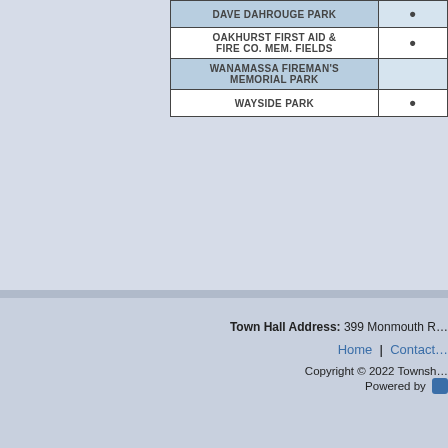| Park Name | Bullet |
| --- | --- |
| DAVE DAHROUGE PARK | • |
| OAKHURST FIRST AID & FIRE CO. MEM. FIELDS | • |
| WANAMASSA FIREMAN'S MEMORIAL PARK |  |
| WAYSIDE PARK | • |
Town Hall Address: 399 Monmouth R... Home | Contact... Copyright © 2022 Townsh... Powered by [CMS]